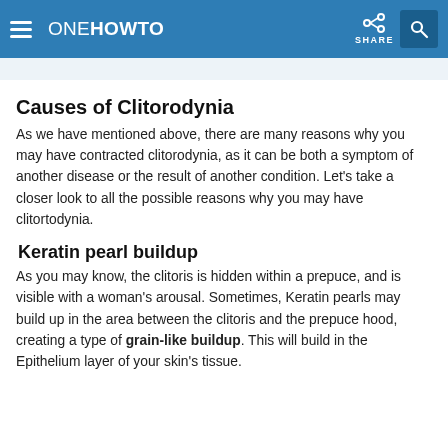oneHOWTO SHARE
…
Causes of Clitorodynia
As we have mentioned above, there are many reasons why you may have contracted clitorodynia, as it can be both a symptom of another disease or the result of another condition. Let's take a closer look to all the possible reasons why you may have clitortodynia.
Keratin pearl buildup
As you may know, the clitoris is hidden within a prepuce, and is visible with a woman's arousal. Sometimes, Keratin pearls may build up in the area between the clitoris and the prepuce hood, creating a type of grain-like buildup. This will build in the Epithelium layer of your skin's tissue.